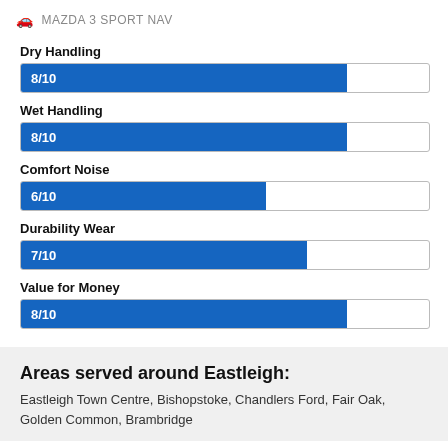MAZDA 3 SPORT NAV
[Figure (bar-chart): Ratings]
Areas served around Eastleigh:
Eastleigh Town Centre, Bishopstoke, Chandlers Ford, Fair Oak, Golden Common, Brambridge